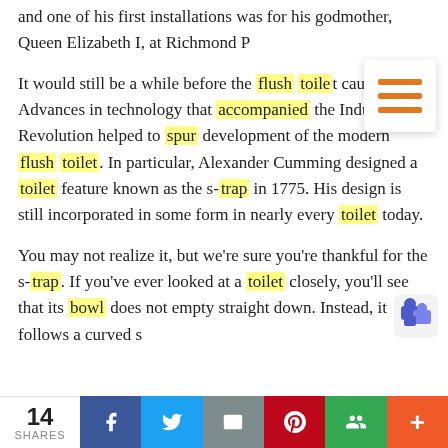and one of his first installations was for his godmother, Queen Elizabeth I, at Richmond Palace
It would still be a while before the flush toilet caught on. Advances in technology that accompanied the Industrial Revolution helped to spur development of the modern flush toilet. In particular, Alexander Cumming designed a toilet feature known as the s-trap in 1775. His design is still incorporated in some form in nearly every toilet today.
You may not realize it, but we're sure you're thankful for the s-trap. If you've ever looked at a toilet closely, you'll see that its bowl does not empty straight down. Instead, it follows a curved s
14 SHARES | Facebook | Twitter | Email | Pinterest | Google+ | +